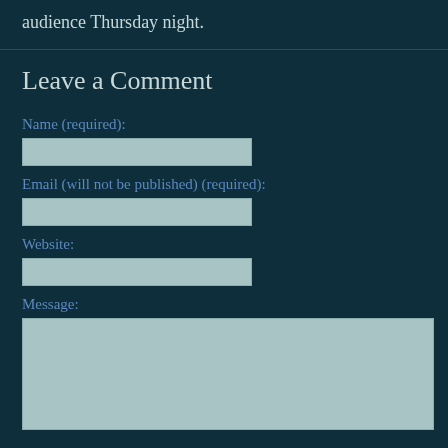audience Thursday night.
Leave a Comment
Name (required):
Email (will not be published) (required):
Website:
Message: